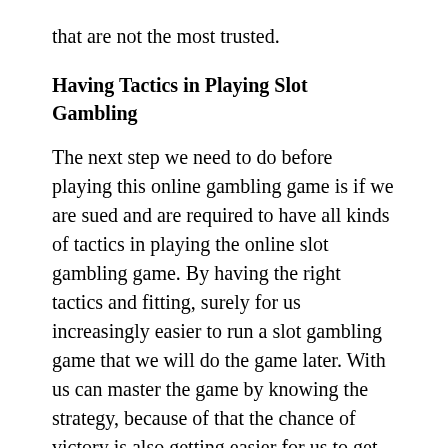that are not the most trusted.
Having Tactics in Playing Slot Gambling
The next step we need to do before playing this online gambling game is if we are sued and are required to have all kinds of tactics in playing the online slot gambling game. By having the right tactics and fitting, surely for us increasingly easier to run a slot gambling game that we will do the game later. With us can master the game by knowing the strategy, because of that the chance of victory is also getting easier for us to get, and the benefits will be even easier for us to achieve. That is because every profit we get, depends on the